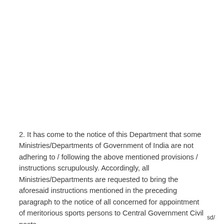2. It has come to the notice of this Department that some Ministries/Departments of Government of India are not adhering to / following the above mentioned provisions / instructions scrupulously. Accordingly, all Ministries/Departments are requested to bring the aforesaid instructions mentioned in the preceding paragraph to the notice of all concerned for appointment of meritorious sports persons to Central Government Civil posts.
sd/